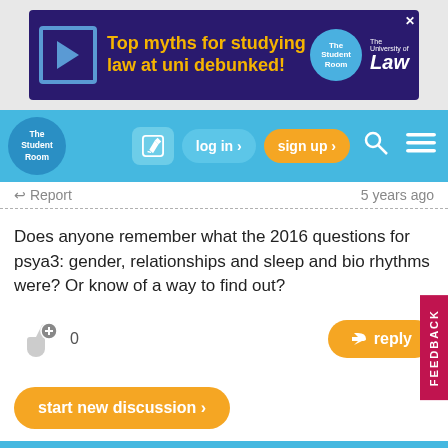[Figure (screenshot): Advertisement banner for The University of Law - 'Top myths for studying law at uni debunked!']
[Figure (screenshot): The Student Room navigation bar with log in, sign up, search and menu buttons]
↩ Report   5 years ago
Does anyone remember what the 2016 questions for psya3: gender, relationships and sleep and bio rhythms were? Or know of a way to find out?
0  ↩ reply
start new discussion ›
Quick Reply
Reply to this thread here...